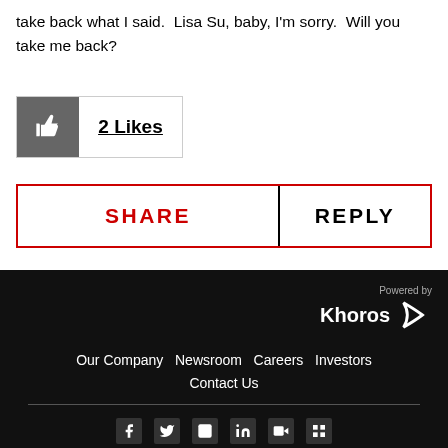take back what I said.  Lisa Su, baby, I'm sorry.  Will you take me back?
[Figure (other): Like button showing thumbs up icon with '2 Likes' text]
[Figure (other): Action bar with SHARE and REPLY buttons]
Powered by Khoros | Our Company  Newsroom  Careers  Investors  Contact Us